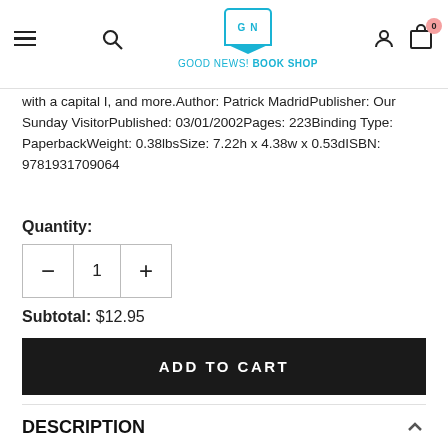GOOD NEWS! BOOK SHOP
with a capital I, and more.Author: Patrick MadridPublisher: Our Sunday VisitorPublished: 03/01/2002Pages: 223Binding Type: PaperbackWeight: 0.38lbsSize: 7.22h x 4.38w x 0.53dISBN: 9781931709064
Quantity:
Subtotal:  $12.95
ADD TO CART
DESCRIPTION